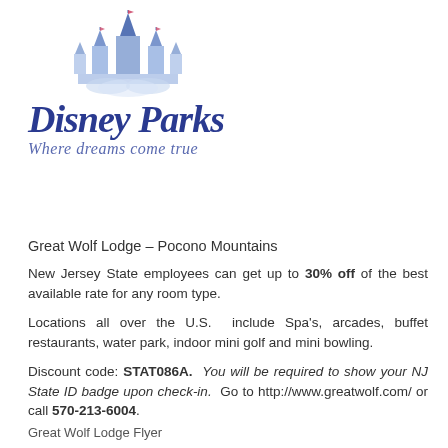[Figure (logo): Disney Parks logo with castle illustration above text 'Disney Parks' and tagline 'Where dreams come true']
Great Wolf Lodge – Pocono Mountains
New Jersey State employees can get up to 30% off of the best available rate for any room type.
Locations all over the U.S. include Spa's, arcades, buffet restaurants, water park, indoor mini golf and mini bowling.
Discount code: STAT086A. You will be required to show your NJ State ID badge upon check-in. Go to http://www.greatwolf.com/ or call 570-213-6004.
Great Wolf Lodge Flyer